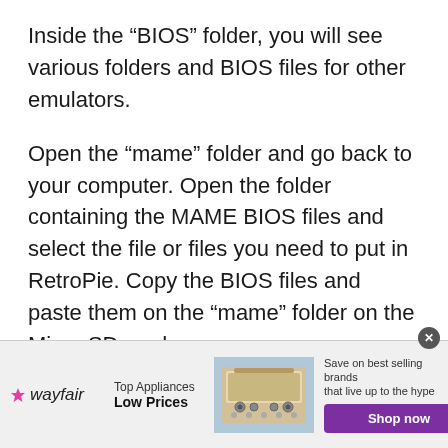Inside the “BIOS” folder, you will see various folders and BIOS files for other emulators.
Open the “mame” folder and go back to your computer. Open the folder containing the MAME BIOS files and select the file or files you need to put in RetroPie. Copy the BIOS files and paste them on the “mame” folder on the Micro SD card.
[Figure (other): Wayfair advertisement banner: logo, Top Appliances Low Prices tagline, image of a stove/range appliance, and a purple Shop now button. Text: Save on best selling brands that live up to the hype.]